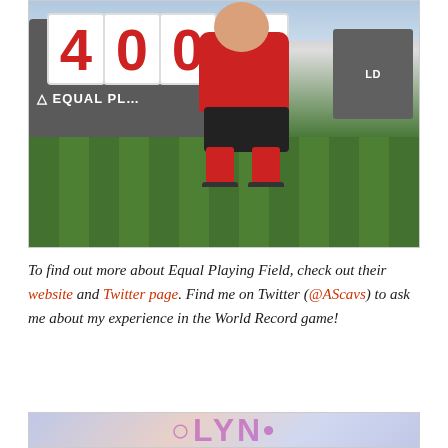[Figure (photo): A person wearing a red football kit kneeling in front of a grey banner that reads 'EQUAL PLAYING FIELD' with number cards showing '400' (and partially visible '9'). The person is on an artificial grass pitch. The banner and setting suggest a World Record football event.]
To find out more about Equal Playing Field, check out their website and Twitter page. Find me on Twitter (@AScavs) to ask me about my experience in the World Record game!
[Figure (photo): Partially visible bottom image showing colourful text, likely relating to Olympics or similar event.]